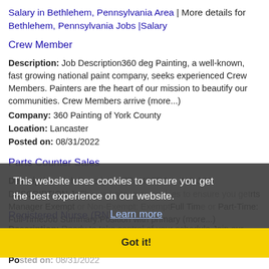Salary in Bethlehem, Pennsylvania Area | More details for Bethlehem, Pennsylvania Jobs |Salary
Crew Member
Description: Job Description360 deg Painting, a well-known, fast growing national paint company, seeks experienced Crew Members. Painters are the heart of our mission to beautify our communities. Crew Members arrive (more...)
Company: 360 Painting of York County
Location: Lancaster
Posted on: 08/31/2022
Parts Counter Sales
Description: Job DescriptionTRANSTECK, INC.JOB DESCRIPTION JoThis website uses cookies to ensure you getrts Manager Exempt or Non-Exempt: ExemptFull Time or Part-Time: Full TimeJob Summary:Position with primary (more...)
Company: Transteck Inc - Lancaster
Location: Lancaster
Posted on: 08/31/2022
[Figure (other): Cookie consent overlay with text 'This website uses cookies to ensure you get the best experience on our website.', a 'Learn more' link, and a yellow 'Got it!' button.]
Registered Nurse (RN)
Description: Ready to take control of your schedule Join our team of healthcare heroes COVID-19 Considerations: Clinicians must be